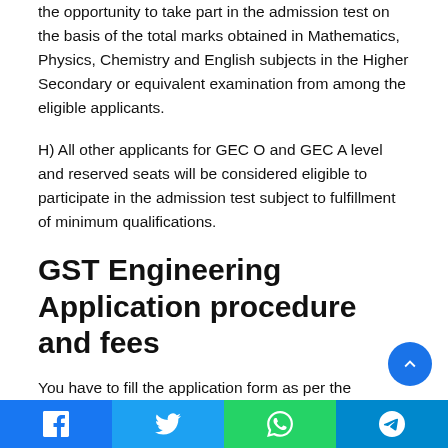the opportunity to take part in the admission test on the basis of the total marks obtained in Mathematics, Physics, Chemistry and English subjects in the Higher Secondary or equivalent examination from among the eligible applicants.
H) All other applicants for GEC O and GEC A level and reserved seats will be considered eligible to participate in the admission test subject to fulfillment of minimum qualifications.
GST Engineering Application procedure and fees
You have to fill the application form as per the instructions given on the integrated admission test website of CUET QUET and RUET (admissionckruet.ac.bd) and submit the